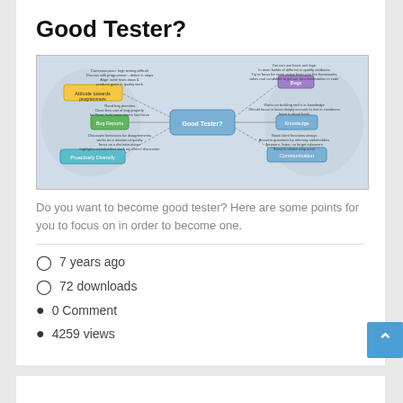Good Tester?
[Figure (other): Mind map diagram showing qualities of a Good Tester, with branches for Attitude towards programmers, Bug Reports, Proactively Diversify, Knowledge, Communication, and Bugs.]
Do you want to become good tester? Here are some points for you to focus on in order to become one.
7 years ago
72 downloads
0 Comment
4259 views